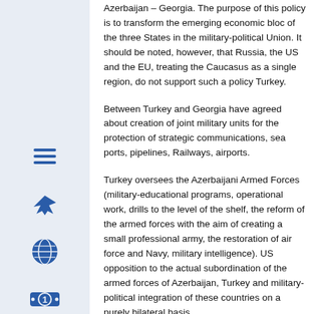Azerbaijan – Georgia. The purpose of this policy is to transform the emerging economic bloc of the three States in the military-political Union. It should be noted, however, that Russia, the US and the EU, treating the Caucasus as a single region, do not support such a policy Turkey.
Between Turkey and Georgia have agreed about creation of joint military units for the protection of strategic communications, sea ports, pipelines, Railways, airports.
Turkey oversees the Azerbaijani Armed Forces (military-educational programs, operational work, drills to the level of the shelf, the reform of the armed forces with the aim of creating a small professional army, the restoration of air force and Navy, military intelligence). US opposition to the actual subordination of the armed forces of Azerbaijan, Turkey and military-political integration of these countries on a purely bilateral basis.
As for Iran, the decline of tension around it, apparently, won't be long. In the event of unleashing a large-scale military action against Iran, Tehran will certainly use all its capabilities for retaliation policy,
[Figure (infographic): Left sidebar with blue icons: hamburger menu, airplane, globe, dollar coin, graduation cap, megaphone]